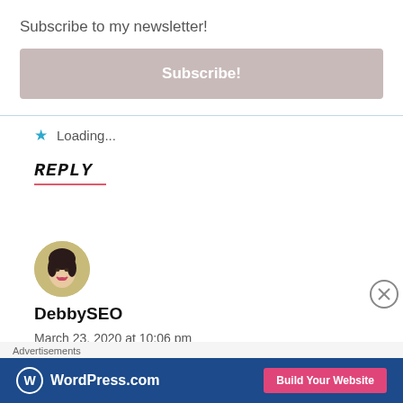Subscribe to my newsletter!
Subscribe!
★ Loading...
REPLY
[Figure (photo): Circular avatar photo of a woman with dark hair, vintage style.]
DebbySEO
March 23, 2020 at 10:06 pm
Advertisements
[Figure (screenshot): WordPress.com advertisement banner with logo and 'Build Your Website' button.]